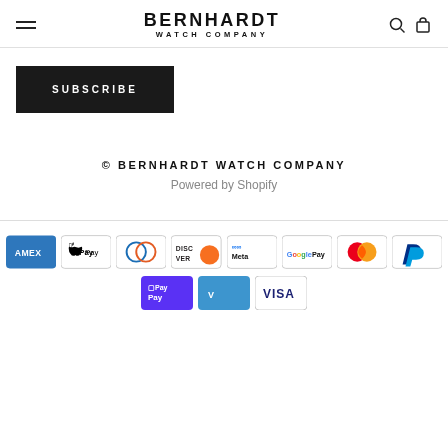BERNHARDT WATCH COMPANY
SUBSCRIBE
© BERNHARDT WATCH COMPANY
Powered by Shopify
[Figure (infographic): Payment method icons: American Express, Apple Pay, Diners Club, Discover, Meta Pay, Google Pay, Mastercard, PayPal, Shop Pay, Venmo, Visa]